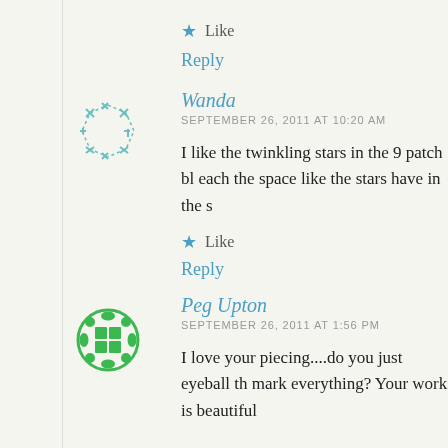★ Like
Reply
Wanda
SEPTEMBER 26, 2011 AT 10:20 AM
I like the twinkling stars in the 9 patch bl each the space like the stars have in the s
★ Like
Reply
Peg Upton
SEPTEMBER 26, 2011 AT 1:56 PM
I love your piecing....do you just eyeball th mark everything? Your work is beautiful